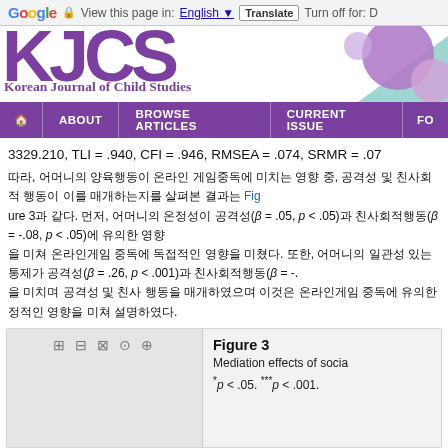Google — View this page in: English | Translate | Turn off for: D
[Figure (logo): KJCS Korean Journal of Child Studies logo with purple decorative spheres]
Navigation bar: Home | ABOUT | BROWSE ARTICLES | CURRENT ISSUE | FO...
3329.210, TLI = .940, CFI = .946, RMSEA = .074, SRMR = .07...
Korean body text with statistical values (β = .05, p < .05), (β = -.08, p < .05), (β = .26, p < .001), (β = -... Figure 3 reference link
Figure 3
Mediation effects of socia...
*p < .05. ***p < .001.